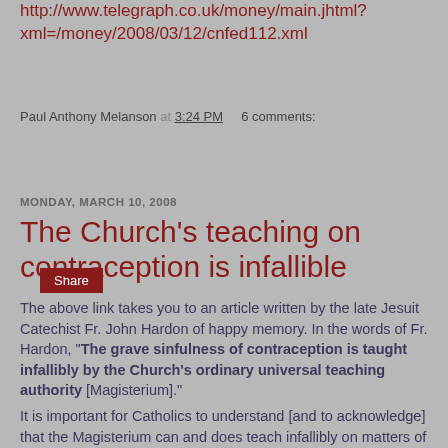http://www.telegraph.co.uk/money/main.jhtml?xml=/money/2008/03/12/cnfed112.xml
Paul Anthony Melanson at 3:24 PM    6 comments:
Share
MONDAY, MARCH 10, 2008
The Church's teaching on contraception is infallible
The above link takes you to an article written by the late Jesuit Catechist Fr. John Hardon of happy memory. In the words of Fr. Hardon, "The grave sinfulness of contraception is taught infallibly by the Church's ordinary universal teaching authority [Magisterium]."
It is important for Catholics to understand [and to acknowledge] that the Magisterium can and does teach infallibly on matters of faith and morals in the ordinary day-to-day execution of its pastoral mission provided that some